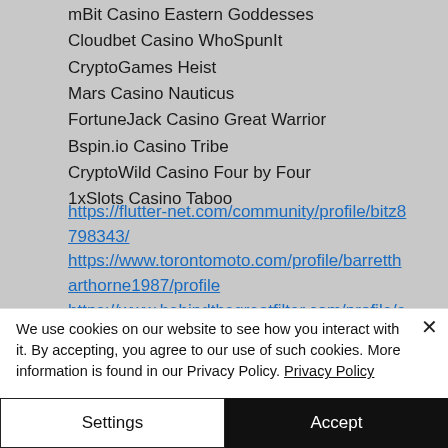mBit Casino Eastern Goddesses
Cloudbet Casino WhoSpunIt
CryptoGames Heist
Mars Casino Nauticus
FortuneJack Casino Great Warrior
Bspin.io Casino Tribe
CryptoWild Casino Four by Four
1xSlots Casino Taboo
https://flutter-net.com/community/profile/bitz8798343/ https://www.torontomoto.com/profile/barrettharthorne1987/profile https://www.behindthegreatfilter.com/profile/e
We use cookies on our website to see how you interact with it. By accepting, you agree to our use of such cookies. More information is found in our Privacy Policy. Privacy Policy
Settings
Accept